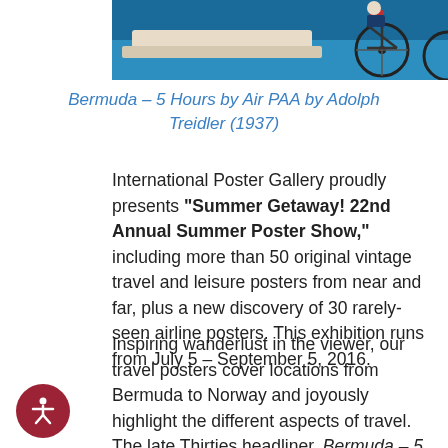[Figure (photo): Top portion of a vintage travel poster showing a blue background with a bicycle and partial figures, cropped at top of page.]
Bermuda – 5 Hours by Air PAA by Adolph Treidler (1937)
International Poster Gallery proudly presents "Summer Getaway! 22nd Annual Summer Poster Show," including more than 50 original vintage travel and leisure posters from near and far, plus a new discovery of 30 rarely-seen airline posters. This exhibition runs from July 5 – September 5, 2016.
Inspiring wanderlust in the viewer, our travel posters cover locations from Bermuda to Norway and joyously highlight the different aspects of travel. The late Thirties headliner, Bermuda – 5 Hours by Air – PAA by Adolph Treidler pictures a handsome young couple